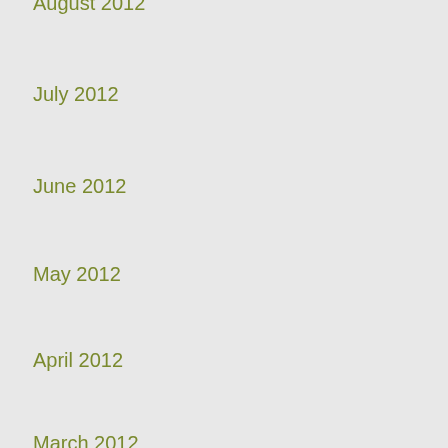August 2012
July 2012
June 2012
May 2012
April 2012
March 2012
CATEGORIES
Cooking Tips (8)